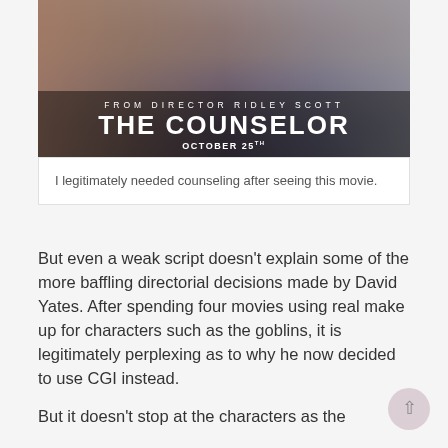[Figure (photo): Movie poster for 'The Counselor' directed by Ridley Scott, showing three people (two men and a woman), with text 'FROM DIRECTOR RIDLEY SCOTT', 'THE COUNSELOR', 'OCTOBER 25TH']
I legitimately needed counseling after seeing this movie.
But even a weak script doesn't explain some of the more baffling directorial decisions made by David Yates. After spending four movies using real make up for characters such as the goblins, it is legitimately perplexing as to why he now decided to use CGI instead.
But it doesn't stop at the characters as the